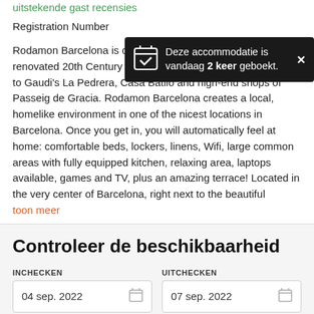uitstekende gast recensies
[Figure (infographic): Dark notification bar with calendar icon saying 'Deze accommodatie is vandaag 2 keer geboekt.' with a close button]
Registration Number [partially visible]
Rodamon Barcelona is centrally located on a beautifully renovated 20th Century building in the centre of the city, close to Gaudi's La Pedrera, Casa Batllo and high-end shops of Passeig de Gracia. Rodamon Barcelona creates a local, homelike environment in one of the nicest locations in Barcelona. Once you get in, you will automatically feel at home: comfortable beds, lockers, linens, Wifi, large common areas with fully equipped kitchen, relaxing area, laptops available, games and TV, plus an amazing terrace! Located in the very center of Barcelona, right next to the beautiful
toon meer
Controleer de beschikbaarheid
INCHECKEN
04 sep. 2022
UITCHECKEN
07 sep. 2022
GASTEN